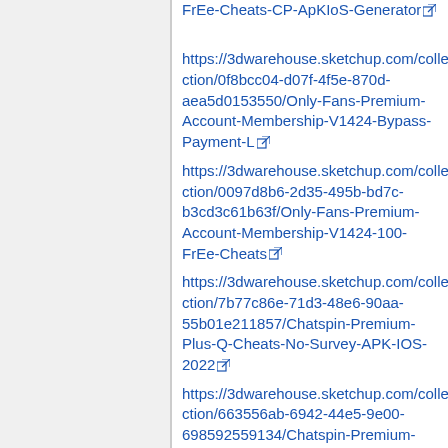FrEe-Cheats-CP-ApKIoS-Generator https://3dwarehouse.sketchup.com/collection/0f8bcc04-d07f-4f5e-870d-aea5d0153550/Only-Fans-Premium-Account-Membership-V1424-Bypass-Payment-L
https://3dwarehouse.sketchup.com/collection/0097d8b6-2d35-495b-bd7c-b3cd3c61b63f/Only-Fans-Premium-Account-Membership-V1424-100-FrEe-Cheats
https://3dwarehouse.sketchup.com/collection/7b77c86e-71d3-48e6-90aa-55b01e211857/Chatspin-Premium-Plus-Q-Cheats-No-Survey-APK-IOS-2022
https://3dwarehouse.sketchup.com/collection/663556ab-6942-44e5-9e00-698592559134/Chatspin-Premium-Plus-100-FrEe-Cheats-X-ApKIoS-Generator
https://3dwarehouse.sketchup.com/colle